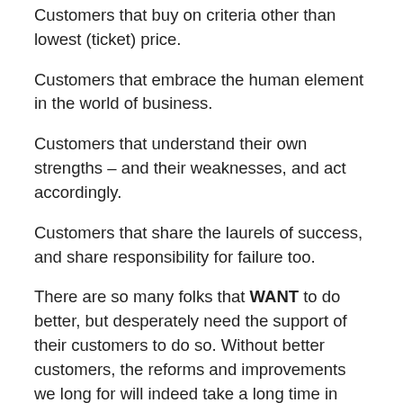Customers that buy on criteria other than lowest (ticket) price.
Customers that embrace the human element in the world of business.
Customers that understand their own strengths – and their weaknesses, and act accordingly.
Customers that share the laurels of success, and share responsibility for failure too.
There are so many folks that WANT to do better, but desperately need the support of their customers to do so. Without better customers, the reforms and improvements we long for will indeed take a long time in coming.
– Bob